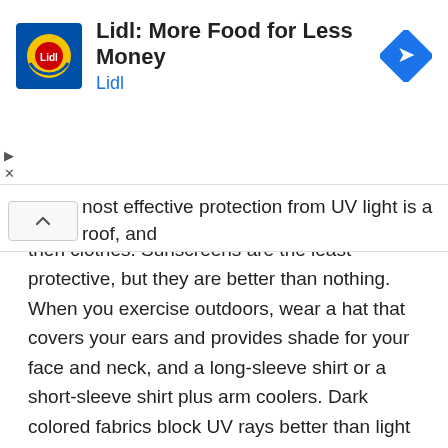[Figure (screenshot): Lidl advertisement banner with Lidl logo, title 'Lidl: More Food for Less Money', subtitle 'Lidl', and a blue navigation arrow icon on the right. Play and close (X) controls on the left side.]
most effective protection from UV light is a roof, and then clothes. Sunscreens are the least protective, but they are better than nothing. When you exercise outdoors, wear a hat that covers your ears and provides shade for your face and neck, and a long-sleeve shirt or a short-sleeve shirt plus arm coolers. Dark colored fabrics block UV rays better than light colors, and tightly woven fabrics block more UV than looser weaves. Hold the material up to a light source; the more light that passes through a fabric, the more UV will also pass.
Sunglasses block UV light and therefore help to prevent cancer in skin around your eyes. Skin cancers around the